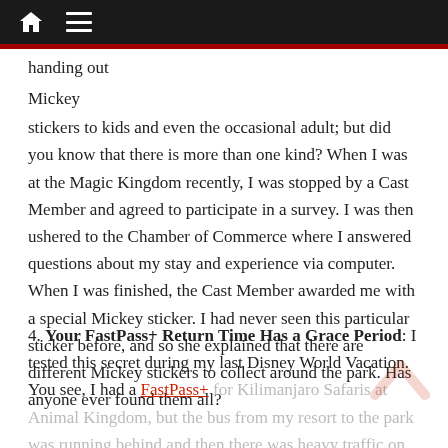handing out Mickey
stickers to kids and even the occasional adult; but did you know that there is more than one kind? When I was at the Magic Kingdom recently, I was stopped by a Cast Member and agreed to participate in a survey. I was then ushered to the Chamber of Commerce where I answered questions about my stay and experience via computer. When I was finished, the Cast Member awarded me with a special Mickey sticker. I had never seen this particular sticker before, and so she explained that there are different Mickey stickers to collect around the park. Has anyone ever found them all?
4. Your FastPass+ Return Time Has a Grace Period: I tested this secret during my last Disney World Vacation. You see, I had a FastPass+ for Kilimanjaro Safaris at Animal Kingdom, but the bus from my resort to the park was running behind and then there was heavy traffic on the way to the park. By the time...